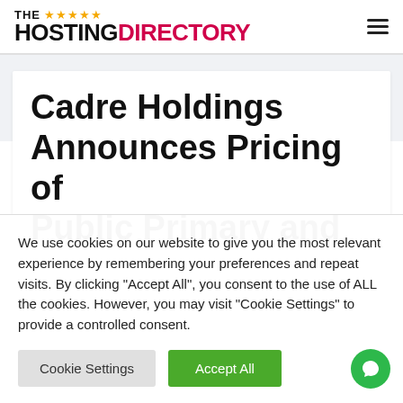[Figure (logo): The Hosting Directory logo with 4 gold stars and two-tone text]
Cadre Holdings Announces Pricing of Public Primary and
We use cookies on our website to give you the most relevant experience by remembering your preferences and repeat visits. By clicking “Accept All”, you consent to the use of ALL the cookies. However, you may visit "Cookie Settings" to provide a controlled consent.
Cookie Settings | Accept All